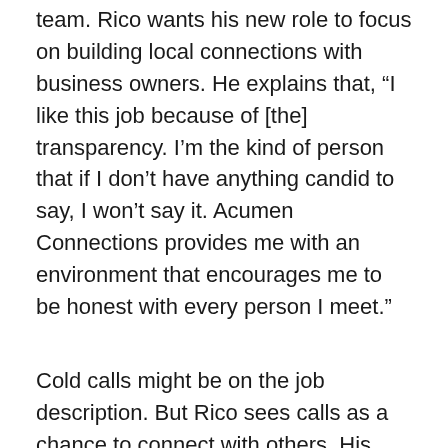team. Rico wants his new role to focus on building local connections with business owners. He explains that, “I like this job because of [the] transparency. I’m the kind of person that if I don’t have anything candid to say, I won’t say it. Acumen Connections provides me with an environment that encourages me to be honest with every person I meet.”
Cold calls might be on the job description. But Rico sees calls as a chance to connect with others. His positive attitude and friendliness are what really shines through when he’s on the phone. As Ariel Westphal, the Marketing Director at Acumen Connections, explains, “He’s on the phone making